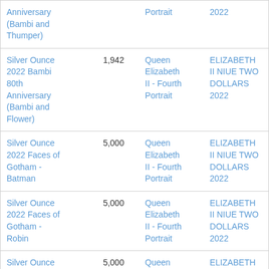| Name | Mintage | Obverse | Inscription |
| --- | --- | --- | --- |
| Anniversary (Bambi and Thumper) |  | Portrait | 2022 |
| Silver Ounce 2022 Bambi 80th Anniversary (Bambi and Flower) | 1,942 | Queen Elizabeth II - Fourth Portrait | ELIZABETH II NIUE TWO DOLLARS 2022 |
| Silver Ounce 2022 Faces of Gotham - Batman | 5,000 | Queen Elizabeth II - Fourth Portrait | ELIZABETH II NIUE TWO DOLLARS 2022 |
| Silver Ounce 2022 Faces of Gotham - Robin | 5,000 | Queen Elizabeth II - Fourth Portrait | ELIZABETH II NIUE TWO DOLLARS 2022 |
| Silver Ounce 2022 Faces of | 5,000 | Queen Elizabeth | ELIZABETH II NIUE TWO |